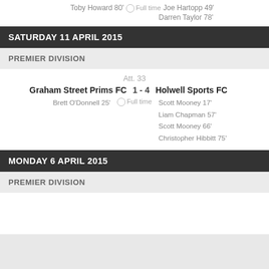Toby Howard 80'  Full time  Joe Hartopp 49'
Darren Taylor 78'
SATURDAY 11 APRIL 2015
PREMIER DIVISION
Att. 33
Graham Street Prims FC  1 - 4  Holwell Sports FC
Brett O'Donnell 25'  Full time  Scott Mooney 17'
Liam Chapman 57'
Scott Mooney 66'
Christopher Hibbitt 75'
MONDAY 6 APRIL 2015
PREMIER DIVISION